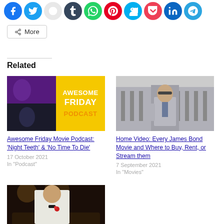[Figure (other): Row of social media sharing icon buttons: Facebook, Twitter, Reddit, Tumblr, WhatsApp, Pinterest, Skype, Pocket, LinkedIn, Telegram]
More
Related
[Figure (photo): Awesome Friday Podcast cover image with two photos and yellow logo]
Awesome Friday Movie Podcast: 'Night Teeth' & 'No Time To Die'
17 October 2021
In "Podcast"
[Figure (photo): James Bond actor in grey suit walking in front of a building]
Home Video: Every James Bond Movie and Where to Buy, Rent, or Stream them
7 September 2021
In "Movies"
[Figure (photo): Man in white tuxedo at a formal event, partially visible]